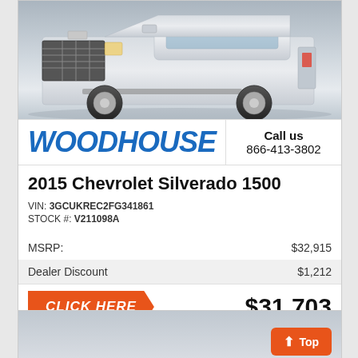[Figure (photo): Front view of a silver 2015 Chevrolet Silverado 1500 pickup truck on a white/gray background]
[Figure (logo): Woodhouse dealership logo in blue bold italic text]
Call us
866-413-3802
2015 Chevrolet Silverado 1500
VIN: 3GCUKREC2FG341861
STOCK #: V211098A
| MSRP: | $32,915 |
| Dealer Discount | $1,212 |
CLICK HERE
$31,703
[Figure (photo): Partial view of another vehicle listing card, gray background]